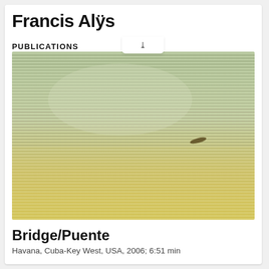Francis Alÿs
PUBLICATIONS
[Figure (photo): Aerial or close-up photograph of water surface with horizontal rippled green and yellow-green tones, showing what appears to be a small dark object in the distance on a calm, striped water or textured surface.]
Bridge/Puente
Havana, Cuba-Key West, USA, 2006; 6:51 min